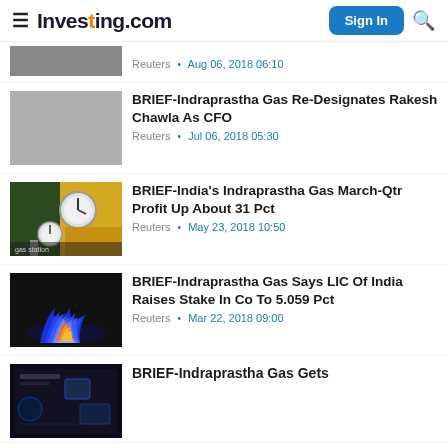Investing.com — Sign In
Reuters · Aug 06, 2018 06:10
BRIEF-Indraprastha Gas Re-Designates Rakesh Chawla As CFO
Reuters · Jul 06, 2018 05:30
BRIEF-India's Indraprastha Gas March-Qtr Profit Up About 31 Pct
Reuters · May 23, 2018 10:50
BRIEF-Indraprastha Gas Says LIC Of India Raises Stake In Co To 5.059 Pct
Reuters · Mar 22, 2018 09:00
BRIEF-Indraprastha Gas Gets